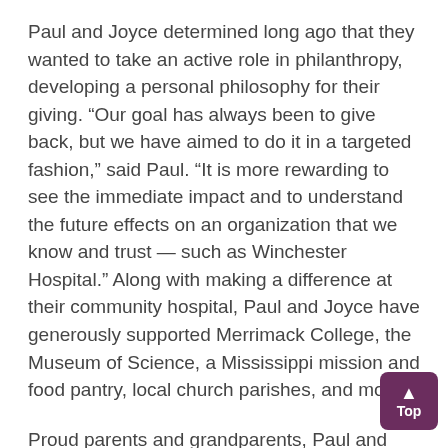Paul and Joyce determined long ago that they wanted to take an active role in philanthropy, developing a personal philosophy for their giving. “Our goal has always been to give back, but we have aimed to do it in a targeted fashion,” said Paul. “It is more rewarding to see the immediate impact and to understand the future effects on an organization that we know and trust — such as Winchester Hospital.” Along with making a difference at their community hospital, Paul and Joyce have generously supported Merrimack College, the Museum of Science, a Mississippi mission and food pantry, local church parishes, and more.
Proud parents and grandparents, Paul and Joyce have always embraced the opportunity to be philanthropic role models. “We feel very fortunate to be able to g…